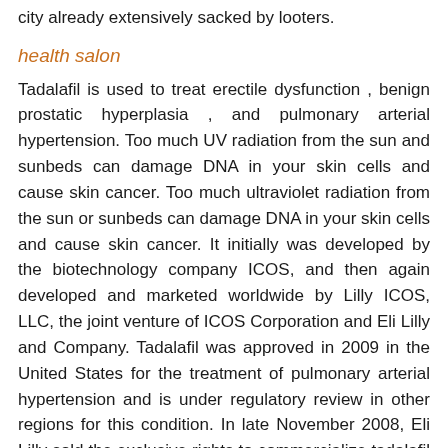city already extensively sacked by looters.
health salon
Tadalafil is used to treat erectile dysfunction , benign prostatic hyperplasia , and pulmonary arterial hypertension. Too much UV radiation from the sun and sunbeds can damage DNA in your skin cells and cause skin cancer. Too much ultraviolet radiation from the sun or sunbeds can damage DNA in your skin cells and cause skin cancer. It initially was developed by the biotechnology company ICOS, and then again developed and marketed worldwide by Lilly ICOS, LLC, the joint venture of ICOS Corporation and Eli Lilly and Company. Tadalafil was approved in 2009 in the United States for the treatment of pulmonary arterial hypertension and is under regulatory review in other regions for this condition. In late November 2008, Eli Lilly sold the exclusive rights to commercialize tadalafil for pulmonary arterial hypertension in the United States to United The...